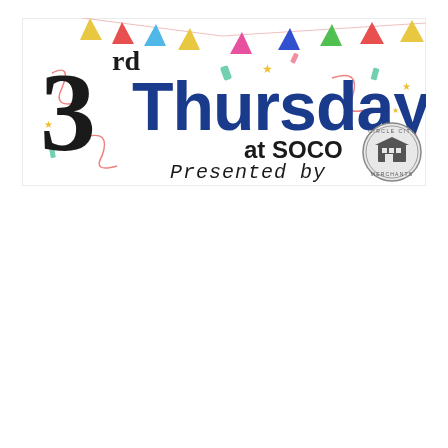[Figure (illustration): 3rd Thursday at SOCO event banner with festive confetti and bunting decorations. Features a large '3rd' in black, 'Thursday' in bold blue, 'at SOCO' in black, 'Presented by' in monospace italic, and a Circle City Merchants logo badge.]